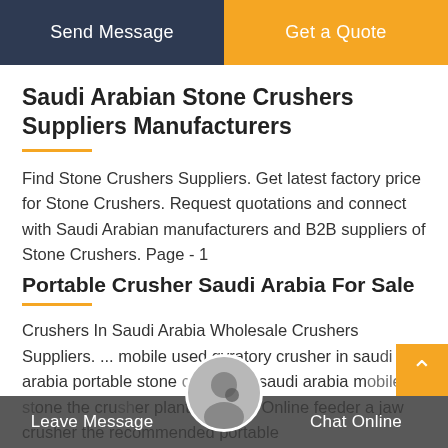[Figure (other): Two buttons at top: 'Send Message' on dark navy background and 'Get a Quote' on orange background]
Saudi Arabian Stone Crushers Suppliers Manufacturers
Find Stone Crushers Suppliers. Get latest factory price for Stone Crushers. Request quotations and connect with Saudi Arabian manufacturers and B2B suppliers of Stone Crushers. Page - 1
Portable Crusher Saudi Arabia For Sale
Crushers In Saudi Arabia Wholesale Crushers Suppliers. ... mobile used gyratory crusher in saudi arabia portable stone crusher in saudi arabia mobile stone the crusher plant the feeder a jaw crusher the recommended portable
[Figure (other): Bottom bar with Leave Message and Chat Online options, avatar image in center, orange scroll-to-top button on right]